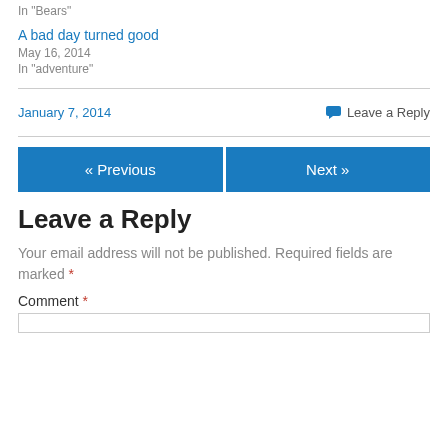In "Bears"
A bad day turned good
May 16, 2014
In "adventure"
January 7, 2014   Leave a Reply
« Previous   Next »
Leave a Reply
Your email address will not be published. Required fields are marked *
Comment *